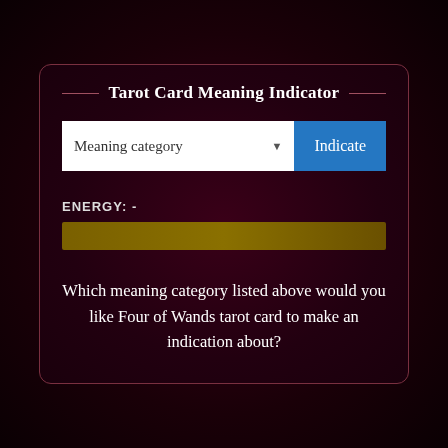Tarot Card Meaning Indicator
[Figure (screenshot): A dropdown selector labeled 'Meaning category' with a blue 'Indicate' button]
ENERGY: -
[Figure (infographic): A dark golden-brown horizontal progress/energy bar]
Which meaning category listed above would you like Four of Wands tarot card to make an indication about?